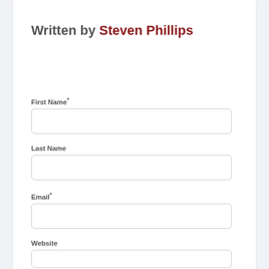Written by Steven Phillips
First Name*
Last Name
Email*
Website